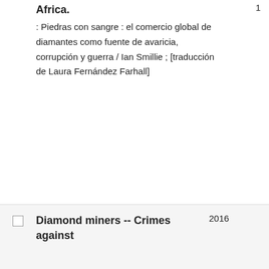Africa.
: Piedras con sangre : el comercio global de diamantes como fuente de avaricia, corrupción y guerra / Ian Smillie ; [traducción de Laura Fernández Farhall]
1
Diamond miners -- Crimes against
2016